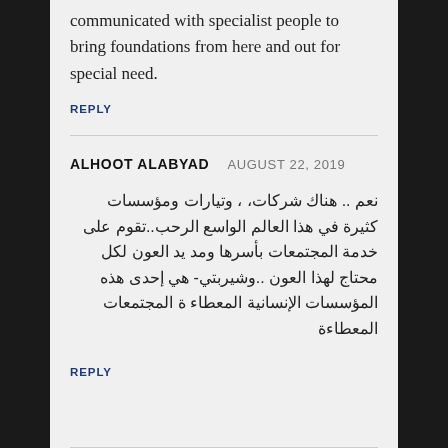communicated with specialist people to bring foundations from here and out for special need.
REPLY
ALHOOT ALABYAD   AUGUST 22, 2019
نعم .. هناك شركات، ، وتيارات ومؤسسات كثيرة في هذا العالم الواسع الرحب..تقوم على خدمة المجتمعات بأسرها ومد يد العون لكل محتاج لهذا العون ..وشيربتي- هي إحدى هذه المؤسسات الإنسانية المعطاء ة المجتمعات المعطاءة
REPLY